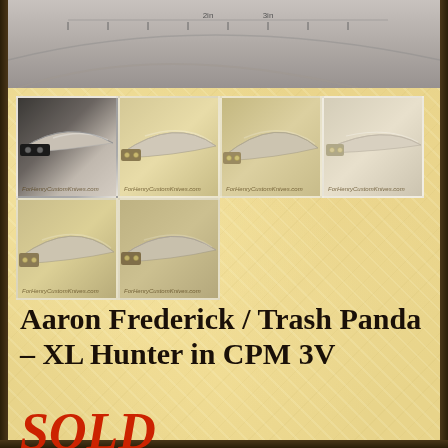[Figure (photo): Top strip photo showing close-up of a blade with textured metal surface and measurement markings]
[Figure (photo): Grid of 6 knife photos showing Aaron Frederick / Trash Panda XL Hunter knives in CPM 3V steel from different angles, with ForHenryCustomKnives.com watermarks]
Aaron Frederick / Trash Panda – XL Hunter in CPM 3V
SOLD